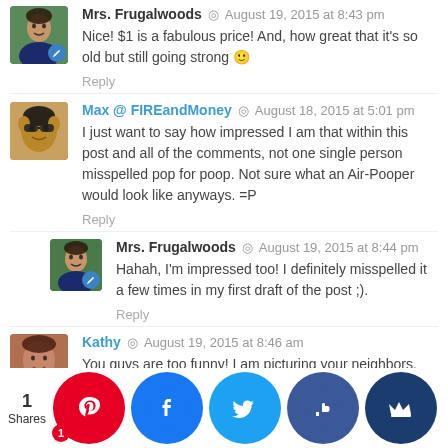Mrs. Frugalwoods · August 19, 2015 at 8:43 pm
Nice! $1 is a fabulous price! And, how great that it's so old but still going strong 🙂
Reply
Max @ FIREandMoney · August 18, 2015 at 5:01 pm
I just want to say how impressed I am that within this post and all of the comments, not one single person misspelled pop for poop. Not sure what an Air-Pooper would look like anyways. =P
Reply
Mrs. Frugalwoods · August 19, 2015 at 8:44 pm
Hahah, I'm impressed too! I definitely misspelled it a few times in my first draft of the post ;).
Reply
Kathy · August 19, 2015 at 8:46 am
You guys are too funny! I am picturing your neighbors. Ha ha. I might add that this is a great VEGAN snack, too, minus any dairy butter or cheese, of course, but there is much (more) al year or yo...
1 Shares